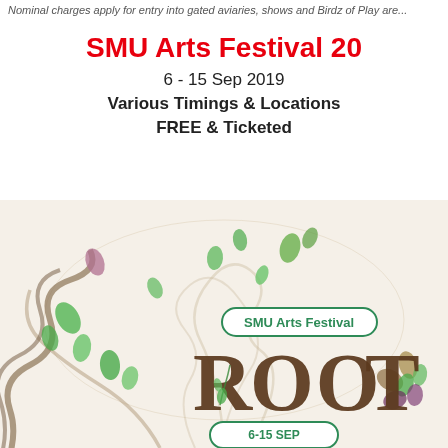Nominal charges apply for entry into gated aviaries, shows and Birdz of Play are...
SMU Arts Festival 20...
6 - 15 Sep 2019
Various Timings & Locations
FREE & Ticketed
[Figure (illustration): SMU Arts Festival 'Roots' promotional banner/poster with illustrated tree branches, green leaves, and festival branding on a cream/beige background. Shows 'SMU Arts Festival' label, large decorative text 'ROOTS', and '6-15 SEP' date text.]